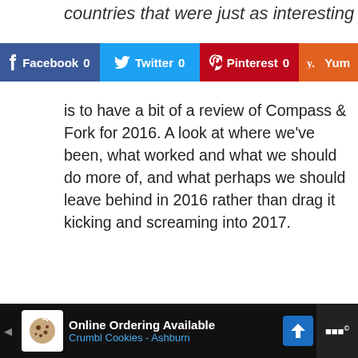countries that were just as interesting
[Figure (infographic): Social sharing bar with Facebook 0, Twitter 0, Pinterest 0, Yummly buttons]
is to have a bit of a review of Compass & Fork for 2016. A look at where we've been, what worked and what we should do more of, and what perhaps we should leave behind in 2016 rather than drag it kicking and screaming into 2017.
Where We Have Been: Milestones
We launched Compass and Fork in 2015, so 2016 was our first full year. Wow time flies.
[Figure (infographic): Advertisement banner: Online Ordering Available, Crumbl Cookies - Ashburn]